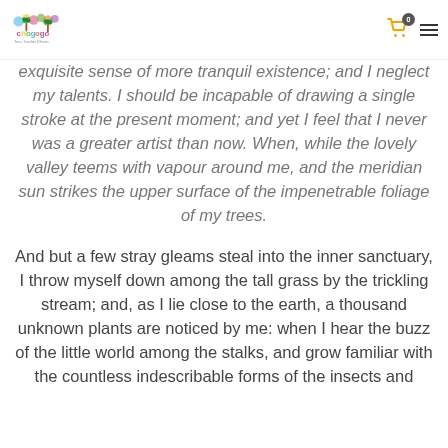chogogo Tours, Transfers & Events — cart (0) — menu
exquisite sense of more tranquil existence; and I neglect my talents. I should be incapable of drawing a single stroke at the present moment; and yet I feel that I never was a greater artist than now. When, while the lovely valley teems with vapour around me, and the meridian sun strikes the upper surface of the impenetrable foliage of my trees.
And but a few stray gleams steal into the inner sanctuary, I throw myself down among the tall grass by the trickling stream; and, as I lie close to the earth, a thousand unknown plants are noticed by me: when I hear the buzz of the little world among the stalks, and grow familiar with the countless indescribable forms of the insects and